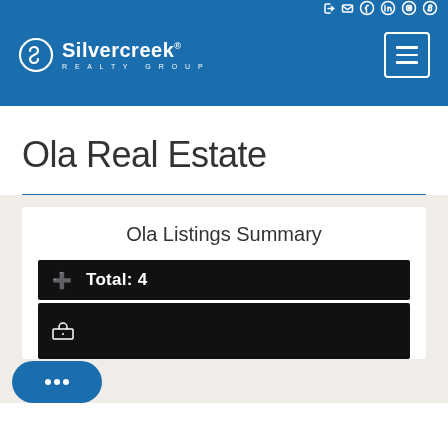[Figure (logo): Silvercreek Realty Group logo with navigation header]
Ola Real Estate
Ola Listings Summary
Total: 4